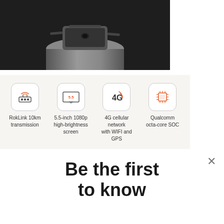[Figure (photo): Black and white product photo of a drone/device placed on top of a cylindrical pedestal against dark background]
[Figure (infographic): Feature icons row 1: RokLink 10km transmission, 5.5-inch 1080p high-brightness screen, 4G cellular network with WIFI and GPS, Qualcomm octa-core SOC]
RokLink 10km transmission
5.5-inch 1080p high-brightness screen
4G cellular network with WIFI and GPS
Qualcomm octa-core SOC
[Figure (infographic): Feature icons row 2 (partially visible): HDMI, USB-C, tools/wrench, network diagram]
Be the first to know